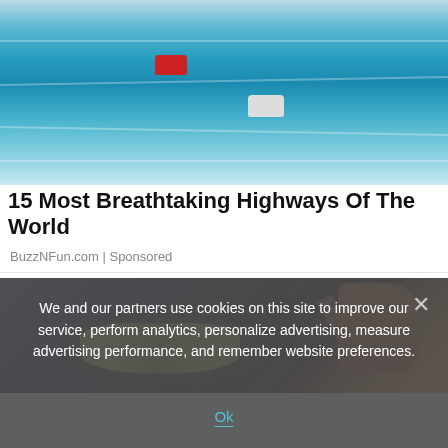[Figure (photo): Aerial view of two cars driving on a road near water/beach, turquoise water visible, red car and white/grey car]
15 Most Breathtaking Highways Of The World
BuzzNFun.com | Sponsored
[Figure (photo): Close-up of someone cooking fried rice in a dark pan with a wooden spatula, vegetables visible]
We and our partners use cookies on this site to improve our service, perform analytics, personalize advertising, measure advertising performance, and remember website preferences.
Ok